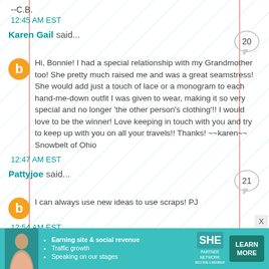--C.B.
12:45 AM EST
Karen Gail said...
Hi, Bonnie! I had a special relationship with my Grandmother too! She pretty much raised me and was a great seamstress! She would add just a touch of lace or a monogram to each hand-me-down outfit I was given to wear, making it so very special and no longer 'the other person's clothing'!! I would love to be the winner! Love keeping in touch with you and try to keep up with you on all your travels!! Thanks! ~~karen~~ Snowbelt of Ohio
12:47 AM EST
Pattyjoe said...
I can always use new ideas to use scraps! PJ
12:54 AM EST
[Figure (infographic): SHE Partner Network advertisement banner with photo of woman, bullet points about earning site & social revenue, traffic growth, speaking on stages, SHE logo, and Learn More button]